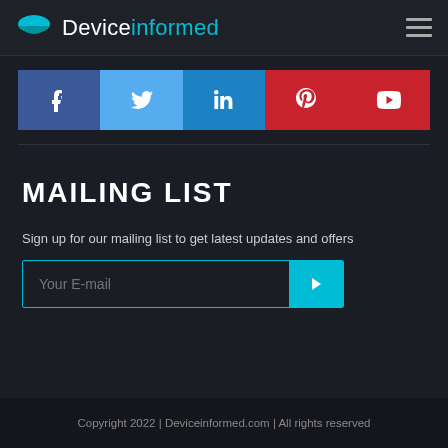Deviceinformed
[Figure (infographic): Social media share buttons: Facebook (blue), Twitter (light blue), LinkedIn (blue), Pinterest (red), YouTube (red)]
MAILING LIST
Sign up for our mailing list to get latest updates and offers
Your E-mail [input field with submit button]
Copyright 2022 | Deviceinformed.com | All rights reserved